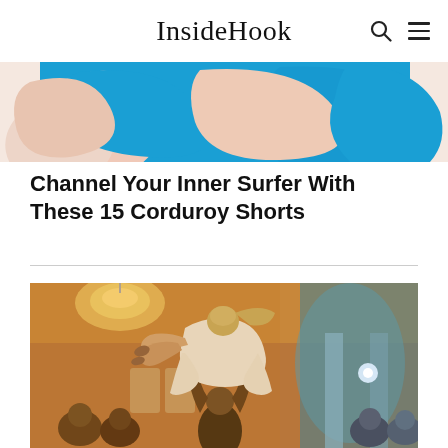InsideHook
[Figure (illustration): Partial top of an article card showing stylized blue and pink surfer-themed graphic with curved shapes]
Channel Your Inner Surfer With These 15 Corduroy Shorts
[Figure (photo): Scene from Dirty Dancing movie showing a woman in a white dress being lifted overhead by a man in a ballroom with chandelier lighting and crowd of onlookers]